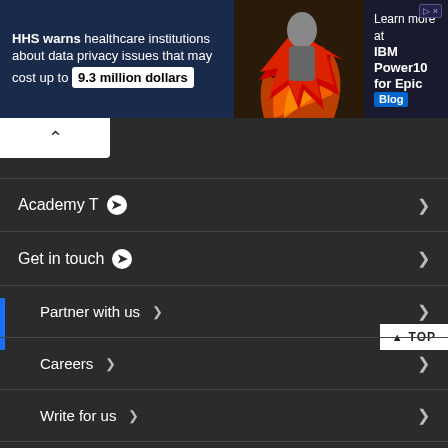[Figure (screenshot): Banner advertisement: HHS warns healthcare institutions about data privacy issues that may cost up to 9.3 million dollars, with IBM Power10 for Epic Blog promotion]
Academy T ▶
Get in touch ▶
Partner with us >
Careers >
Write for us >
About Us >
Contact Us >
Terms and Conditions >